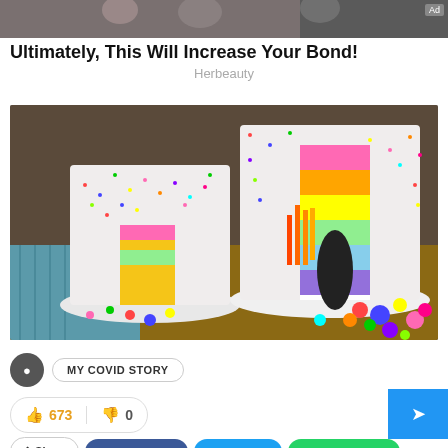[Figure (photo): Advertisement banner with partially visible lifestyle image at top]
Ultimately, This Will Increase Your Bond!
Herbeauty
[Figure (photo): Two colorful rainbow layer cakes covered in sprinkles with candy spilling out of a cut section, displayed on white plates on a wooden table]
MY COVID STORY
673
0
Share
Facebook
Twitter
WhatsApp